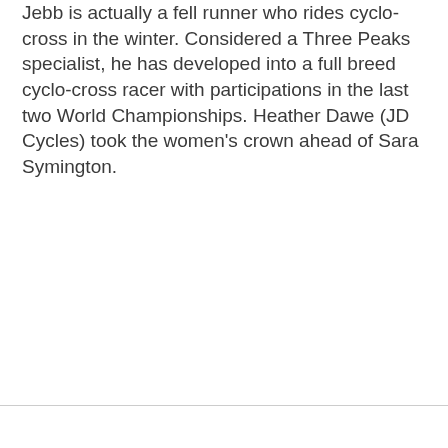Jebb is actually a fell runner who rides cyclo-cross in the winter. Considered a Three Peaks specialist, he has developed into a full breed cyclo-cross racer with participations in the last two World Championships. Heather Dawe (JD Cycles) took the women's crown ahead of Sara Symington.